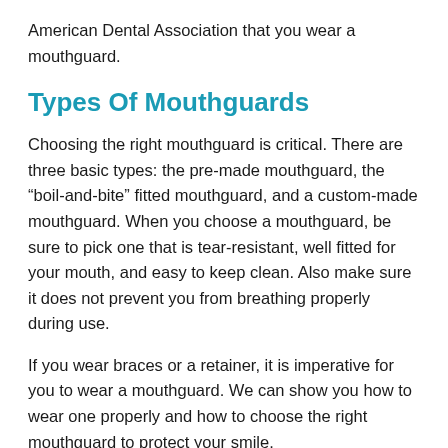American Dental Association that you wear a mouthguard.
Types Of Mouthguards
Choosing the right mouthguard is critical. There are three basic types: the pre-made mouthguard, the “boil-and-bite” fitted mouthguard, and a custom-made mouthguard. When you choose a mouthguard, be sure to pick one that is tear-resistant, well fitted for your mouth, and easy to keep clean. Also make sure it does not prevent you from breathing properly during use.
If you wear braces or a retainer, it is imperative for you to wear a mouthguard. We can show you how to wear one properly and how to choose the right mouthguard to protect your smile.
Taking Care Of Your Mouthguard